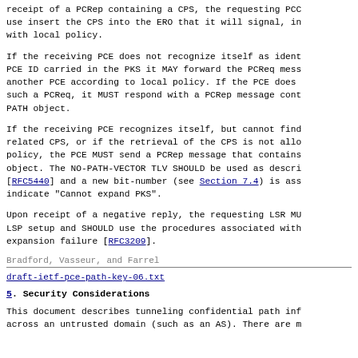receipt of a PCRep containing a CPS, the requesting PCE use insert the CPS into the ERO that it will signal, in with local policy.
If the receiving PCE does not recognize itself as ident PCE ID carried in the PKS it MAY forward the PCReq mess another PCE according to local policy. If the PCE does such a PCReq, it MUST respond with a PCRep message cont PATH object.
If the receiving PCE recognizes itself, but cannot find related CPS, or if the retrieval of the CPS is not allo policy, the PCE MUST send a PCRep message that contains object. The NO-PATH-VECTOR TLV SHOULD be used as descri [RFC5440] and a new bit-number (see Section 7.4) is ass indicate "Cannot expand PKS".
Upon receipt of a negative reply, the requesting LSR MU LSP setup and SHOULD use the procedures associated with expansion failure [RFC3209].
Bradford, Vasseur, and Farrel
draft-ietf-pce-path-key-06.txt
5. Security Considerations
This document describes tunneling confidential path inf across an untrusted domain (such as an AS). There are m